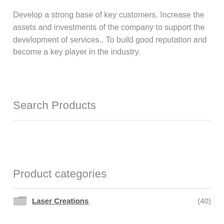Develop a strong base of key customers. Increase the assets and investments of the company to support the development of services.. To build good reputation and become a key player in the industry.
Search Products
[Figure (screenshot): Search products input box with magnifying glass icon and placeholder text 'Search products...']
Product categories
Laser Creations (40)